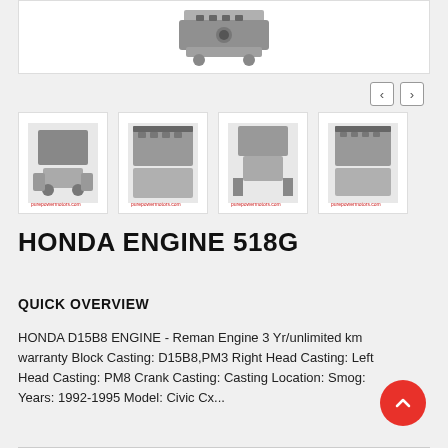[Figure (photo): Top cropped view of a Honda engine, showing the top portion of the engine block with components visible against a white background]
[Figure (photo): Four thumbnail images of a Honda D15B8 engine from different angles, showing front, side, bottom, and another side view]
HONDA ENGINE 518G
QUICK OVERVIEW
HONDA D15B8 ENGINE - Reman Engine 3 Yr/unlimited km warranty Block Casting: D15B8,PM3 Right Head Casting: Left Head Casting: PM8 Crank Casting: Casting Location: Smog: Years: 1992-1995 Model: Civic Cx...